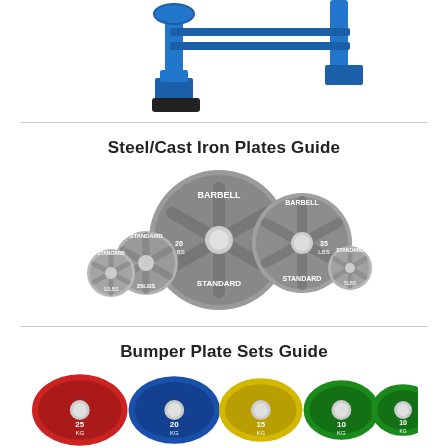[Figure (photo): Blue barbell rack / weight stand equipment, partially visible at top of page]
Steel/Cast Iron Plates Guide
[Figure (photo): Collection of grey cast iron standard barbell weight plates of various sizes labeled BARBELL STANDARD, stacked and arranged together]
Bumper Plate Sets Guide
[Figure (photo): Colorful rubber bumper plates in red, blue, yellow, and green colors, labeled with weights: 25 kg, 20 kg, 15 kg, 10 kg, 10 kg]